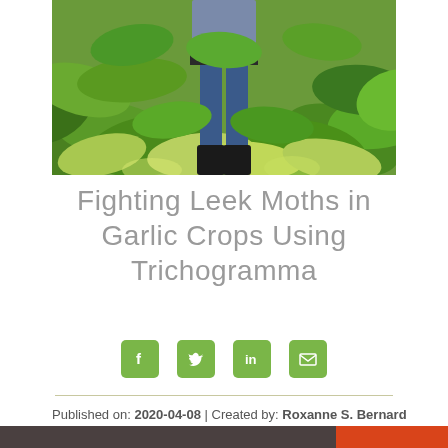[Figure (photo): Person walking through lush green crop field (garlic or similar), wearing jeans and boots, viewed from waist down among large leafy plants]
Fighting Leek Moths in Garlic Crops Using Trichogramma
[Figure (infographic): Social media share icons: Facebook, Twitter, LinkedIn, Email — all in green rounded square buttons]
Published on: 2020-04-08 | Created by: Roxanne S. Bernard
Tags: garlic, leek moth, pepper, trichogramma